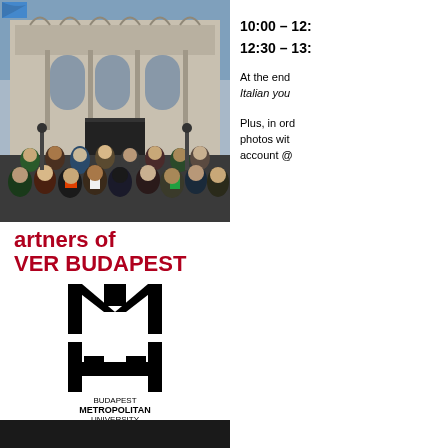[Figure (photo): Group photo of people posing in front of the Hungarian Parliament Building in Budapest]
10:00 – 12:
12:30 – 13:
At the end Italian you
Plus, in order photos with account @
artners of VER BUDAPEST
[Figure (logo): Budapest Metropolitan University logo — stylized M and H letterforms stacked, with text BUDAPEST METROPOLITAN UNIVERSITY below]
[Figure (other): Dark bar at bottom of page]